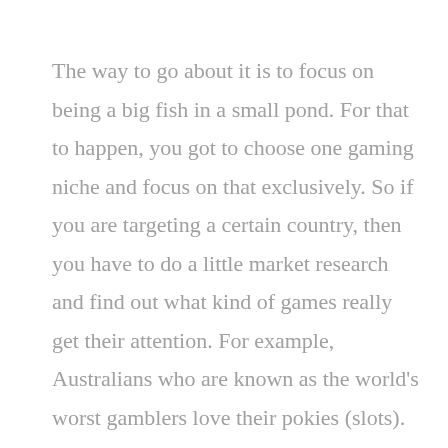The way to go about it is to focus on being a big fish in a small pond. For that to happen, you got to choose one gaming niche and focus on that exclusively. So if you are targeting a certain country, then you have to do a little market research and find out what kind of games really get their attention. For example, Australians who are known as the world's worst gamblers love their pokies (slots). Therefore, if you are targeting the Australian market, it would make more